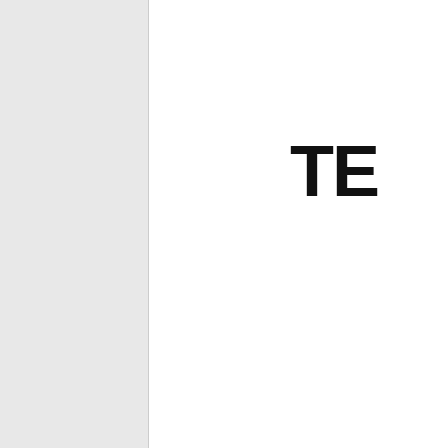TE
Last edited by 126Asiabet; 05-20-20...
05-17-2022, 10:26 AM
126Asiabet
Sponsor
[Figure (logo): 126ASIABET logo with two roosters on dark background]
Re: WWW.126ASIABET.C... Casino. Top class Online C...
126ASIA... TRUST...